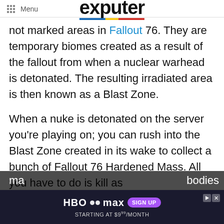Menu | exputer
not marked areas in Fallout 76. They are temporary biomes created as a result of the fallout from when a nuclear warhead is detonated. The resulting irradiated area is then known as a Blast Zone.
When a nuke is detonated on the server you're playing on; you can rush into the Blast Zone created in its wake to collect a bunch of Fallout 76 Hardened Mass. All you have to do is kill as ma[ny] [enemies whose b]odies [for ...] [ad banner overlay]
[Figure (screenshot): HBO Max advertisement banner at bottom of page reading 'HBO max SIGN UP STARTING AT $9*/MONTH']